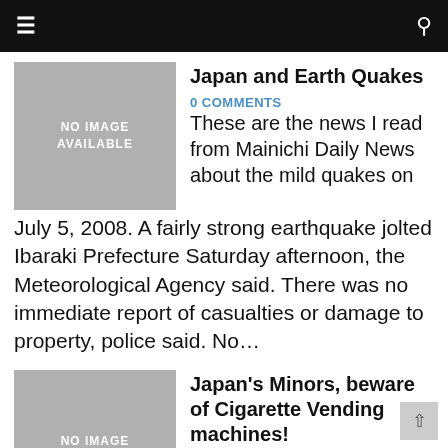≡  🔍
Japan and Earth Quakes
0 COMMENTS
[Figure (photo): No image available placeholder]
These are the news I read from Mainichi Daily News about the mild quakes on July 5, 2008. A fairly strong earthquake jolted Ibaraki Prefecture Saturday afternoon, the Meteorological Agency said. There was no immediate report of casualties or damage to property, police said. No…
Japan's Minors, beware of Cigarette Vending machines!
0 COMMENTS
[Figure (photo): No image available placeholder]
Japan is always one step ahead of the world in implementing new discoveries and ideas in their society. Now the Ministry of Finance has approved cigarette vending machines that use face recognition technology to determine whether the